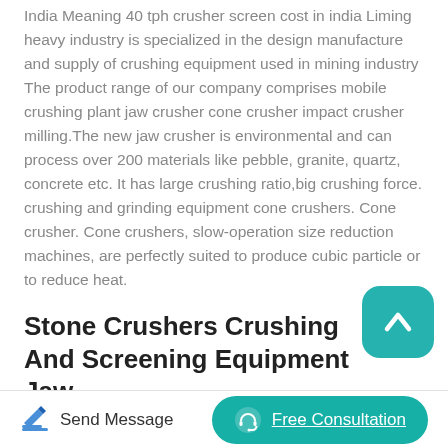India Meaning 40 tph crusher screen cost in india Liming heavy industry is specialized in the design manufacture and supply of crushing equipment used in mining industry The product range of our company comprises mobile crushing plant jaw crusher cone crusher impact crusher milling.The new jaw crusher is environmental and can process over 200 materials like pebble, granite, quartz, concrete etc. It has large crushing ratio,big crushing force. crushing and grinding equipment cone crushers. Cone crusher. Cone crushers, slow-operation size reduction machines, are perfectly suited to produce cubic particle or to reduce heat.
[Figure (other): Teal rounded square button with white upward chevron arrow icon (scroll to top button)]
Stone Crushers Crushing And Screening Equipment Jaw
Rock crushing equipment 100 tph - Mining. rock crushing
Send Message   Free Consultation